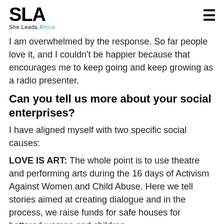SLA She.Leads.Africa
I am overwhelmed by the response. So far people love it, and I couldn't be happier because that encourages me to keep going and keep growing as a radio presenter.
Can you tell us more about your social enterprises?
I have aligned myself with two specific social causes:
LOVE IS ART: The whole point is to use theatre and performing arts during the 16 days of Activism Against Women and Child Abuse. Here we tell stories aimed at creating dialogue and in the process, we raise funds for safe houses for battered women and children.
This...